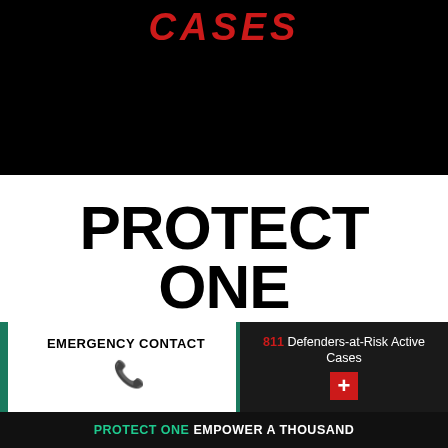CASES
PROTECT ONE
EMPOWER
EMERGENCY CONTACT
811 Defenders-at-Risk Active Cases
PROTECT ONE EMPOWER A THOUSAND